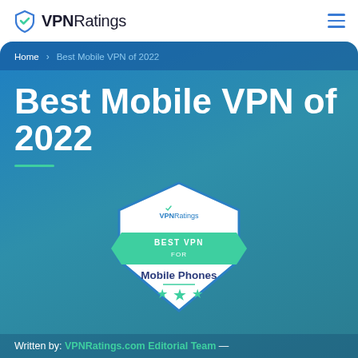VPNRatings [logo] [hamburger menu]
Home > Best Mobile VPN of 2022
Best Mobile VPN of 2022
[Figure (logo): VPNRatings Best VPN for Mobile Phones badge — hexagonal shield shape with teal ribbon banner reading BEST VPN FOR, blue text Mobile Phones, three green stars below]
Written by: VPNRatings.com Editorial Team —